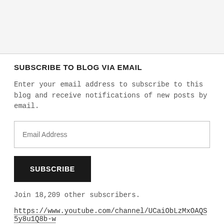SUBSCRIBE TO BLOG VIA EMAIL
Enter your email address to subscribe to this blog and receive notifications of new posts by email.
Email Address
SUBSCRIBE
Join 18,209 other subscribers.
https://www.youtube.com/channel/UCaiObLzMxOAQS5y8u1Q8b-w